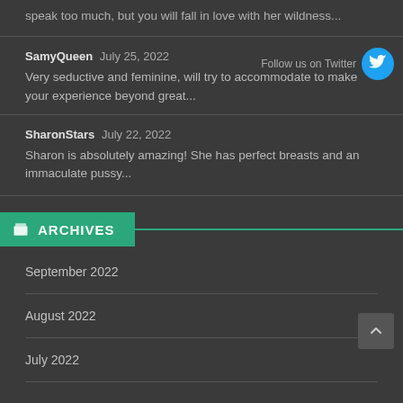speak too much, but you will fall in love with her wildness...
SamyQueen  July 25, 2022
Very seductive and feminine, will try to accommodate to make your experience beyond great...
Follow us on Twitter
SharonStars  July 22, 2022
Sharon is absolutely amazing! She has perfect breasts and an immaculate pussy...
ARCHIVES
September 2022
August 2022
July 2022